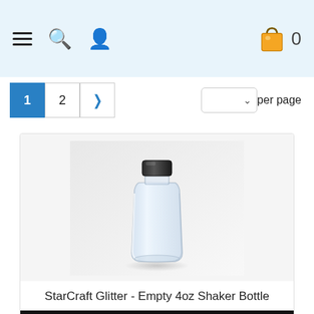Navigation bar with hamburger menu, search, user, cart icons and 0 items
1 2 > per page
[Figure (photo): Product listing card showing a clear plastic 4oz shaker bottle with black cap on white background, with product name 'StarCraft Glitter - Empty 4oz Shaker Bottle' and a black SUBSCRIBE! bar at the bottom]